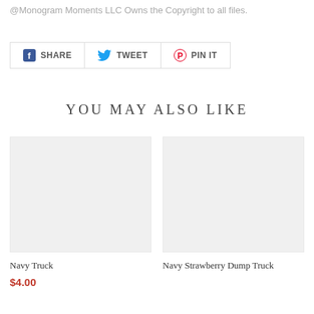@Monogram Moments LLC Owns the Copyright to all files.
SHARE  TWEET  PIN IT
YOU MAY ALSO LIKE
[Figure (photo): Empty light gray product image placeholder for Navy Truck]
Navy Truck
$4.00
[Figure (photo): Empty light gray product image placeholder for Navy Strawberry Dump Truck]
Navy Strawberry Dump Truck